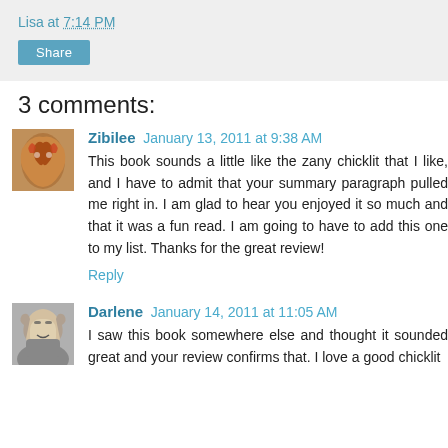Lisa at 7:14 PM
Share
3 comments:
Zibilee  January 13, 2011 at 9:38 AM
This book sounds a little like the zany chicklit that I like, and I have to admit that your summary paragraph pulled me right in. I am glad to hear you enjoyed it so much and that it was a fun read. I am going to have to add this one to my list. Thanks for the great review!
Reply
Darlene  January 14, 2011 at 11:05 AM
I saw this book somewhere else and thought it sounded great and your review confirms that. I love a good chicklit